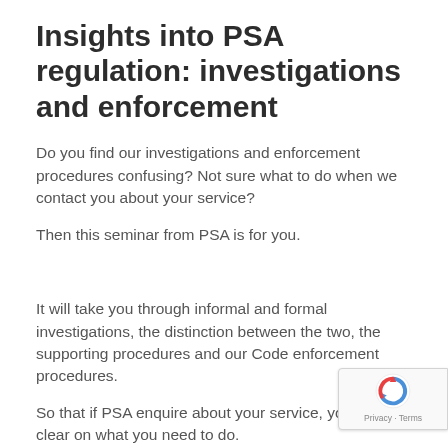Insights into PSA regulation: investigations and enforcement
Do you find our investigations and enforcement procedures confusing? Not sure what to do when we contact you about your service?
Then this seminar from PSA is for you.
It will take you through informal and formal investigations, the distinction between the two, the supporting procedures and our Code enforcement procedures.
So that if PSA enquire about your service, you'll be clear on what you need to do.